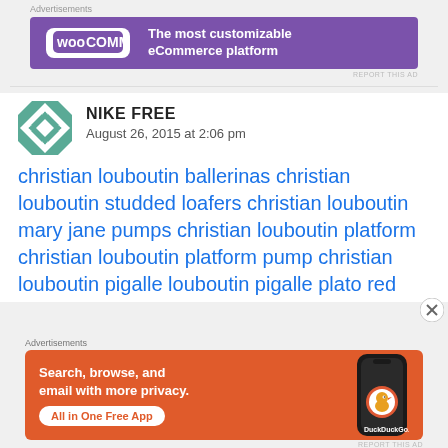[Figure (screenshot): WooCommerce advertisement banner: purple background with WooCommerce logo and text 'The most customizable eCommerce platform']
NIKE FREE
August 26, 2015 at 2:06 pm
christian louboutin ballerinas christian louboutin studded loafers christian louboutin mary jane pumps christian louboutin platform christian louboutin platform pump christian louboutin pigalle louboutin pigalle plato red
[Figure (screenshot): DuckDuckGo advertisement: orange background with text 'Search, browse, and email with more privacy. All in One Free App' and phone image with DuckDuckGo logo]